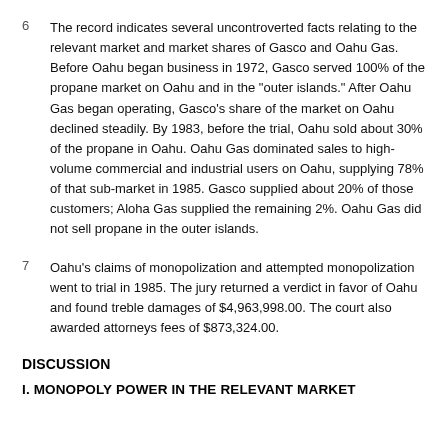6  The record indicates several uncontroverted facts relating to the relevant market and market shares of Gasco and Oahu Gas. Before Oahu began business in 1972, Gasco served 100% of the propane market on Oahu and in the "outer islands." After Oahu Gas began operating, Gasco's share of the market on Oahu declined steadily. By 1983, before the trial, Oahu sold about 30% of the propane in Oahu. Oahu Gas dominated sales to high-volume commercial and industrial users on Oahu, supplying 78% of that sub-market in 1985. Gasco supplied about 20% of those customers; Aloha Gas supplied the remaining 2%. Oahu Gas did not sell propane in the outer islands.
7  Oahu's claims of monopolization and attempted monopolization went to trial in 1985. The jury returned a verdict in favor of Oahu and found treble damages of $4,963,998.00. The court also awarded attorneys fees of $873,324.00.
DISCUSSION
I. MONOPOLY POWER IN THE RELEVANT MARKET